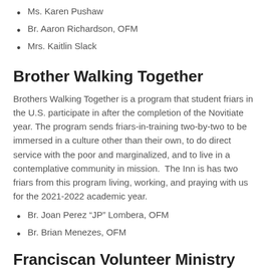Ms. Karen Pushaw
Br. Aaron Richardson, OFM
Mrs. Kaitlin Slack
Brother Walking Together
Brothers Walking Together is a program that student friars in the U.S. participate in after the completion of the Novitiate year. The program sends friars-in-training two-by-two to be immersed in a culture other than their own, to do direct service with the poor and marginalized, and to live in a contemplative community in mission.  The Inn is has two friars from this program living, working, and praying with us for the 2021-2022 academic year.
Br. Joan Perez “JP” Lombera, OFM
Br. Brian Menezes, OFM
Franciscan Volunteer Ministry